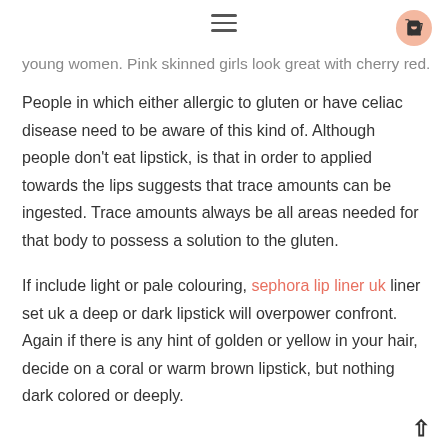≡ [cart icon]
young women. Pink skinned girls look great with cherry red.
People in which either allergic to gluten or have celiac disease need to be aware of this kind of. Although people don't eat lipstick, is that in order to applied towards the lips suggests that trace amounts can be ingested. Trace amounts always be all areas needed for that body to possess a solution to the gluten.
If include light or pale colouring, sephora lip liner uk liner set uk a deep or dark lipstick will overpower confront. Again if there is any hint of golden or yellow in your hair, decide on a coral or warm brown lipstick, but nothing dark colored or deeply.